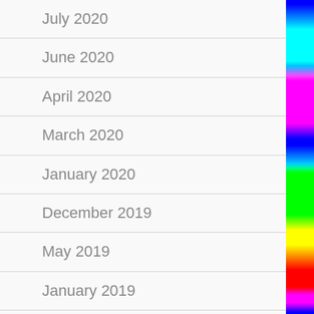July 2020
June 2020
April 2020
March 2020
January 2020
December 2019
May 2019
January 2019
March 2018